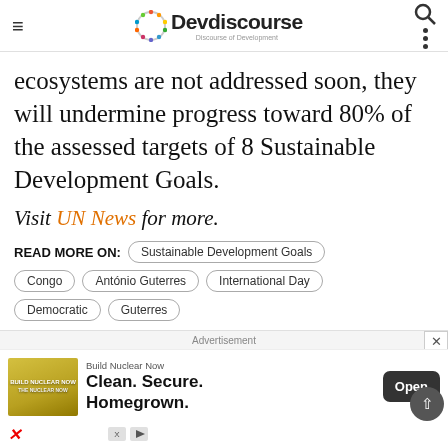Devdiscourse — Discourse of Development
ecosystems are not addressed soon, they will undermine progress toward 80% of the assessed targets of 8 Sustainable Development Goals.
Visit UN News for more.
READ MORE ON: Sustainable Development Goals | Congo | António Guterres | International Day | Democratic | Guterres
Advertisement
[Figure (screenshot): Advertisement banner for Build Nuclear Now: Clean. Secure. Homegrown. with Open button]